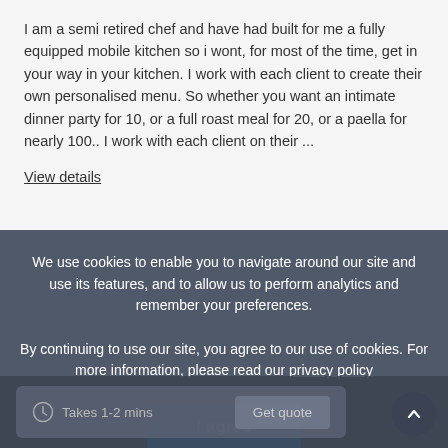I am a semi retired chef and have had built for me a fully equipped mobile kitchen so i wont, for most of the time, get in your way in your kitchen. I work with each client to create their own personalised menu. So whether you want an intimate dinner party for 10, or a full roast meal for 20, or a paella for nearly 100.. I work with each client on their ...
View details
We use cookies to enable you to navigate around our site and use its features, and to allow us to perform analytics and remember your preferences.
By continuing to use our site, you agree to our use of cookies. For more information, please read our privacy policy
I agree
Takes 1-2 mins
Get quote